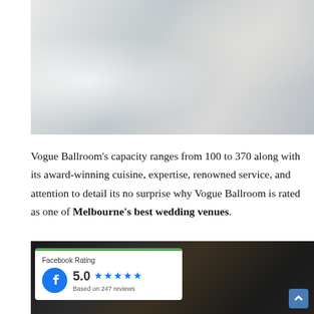[Figure (photo): Aerial/overhead view of a white wedding venue ballroom with elegant table settings, floral arrangements, hanging lights, and a person in a white wedding dress visible]
Vogue Ballroom's capacity ranges from 100 to 370 along with its award-winning cuisine, expertise, renowned service, and attention to detail its no surprise why Vogue Ballroom is rated as one of Melbourne's best wedding venues.
[Figure (photo): Dark and dramatic wedding venue setup with black and gold decor, chandeliers, floral wall, tall candelabras, and an overlaid Facebook Rating card showing 5.0 stars based on 247 reviews]